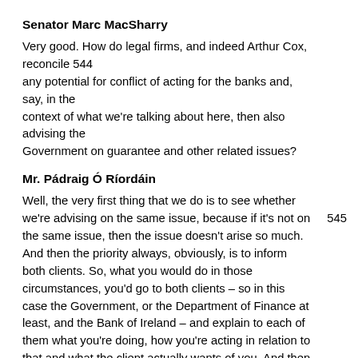Senator Marc MacSharry
Very good. How do legal firms, and indeed Arthur Cox, reconcile 544 any potential for conflict of acting for the banks and, say, in the context of what we're talking about here, then also advising the Government on guarantee and other related issues?
Mr. Pádraig Ó Ríordáin
Well, the very first thing that we do is to see whether we're 545 advising on the same issue, because if it's not on the same issue, then the issue doesn't arise so much. And then the priority always, obviously, is to inform both clients. So, what you would do in those circumstances, you'd go to both clients – so in this case the Government, or the Department of Finance at least, and the Bank of Ireland – and explain to each of them what you're doing, how you're acting in relation to that and what the client actually wants of you. And then if both clients, in those circumstances, agree that actually each of them is happy with that arrangement and the arrangements that are put in place to, you know, separate teams completely and preserve confidentiality and all those types of things, it's the client's decision then, or the client's choice, to go ahead on that basis. I